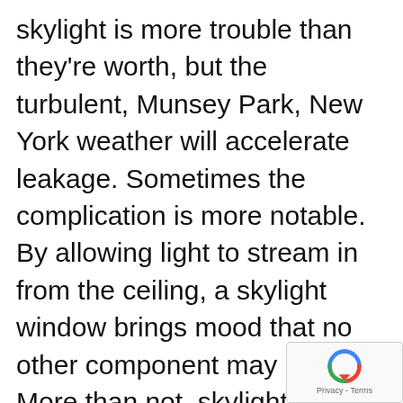skylight is more trouble than they're worth, but the turbulent, Munsey Park, New York weather will accelerate leakage. Sometimes the complication is more notable. By allowing light to stream in from the ceiling, a skylight window brings mood that no other component may match. More than not, skylights will be resealed.
An unsound skylight installation is the prominent cause of skylight
[Figure (other): Google reCAPTCHA widget showing a blue circular arrow icon with 'Privacy - Terms' text below]